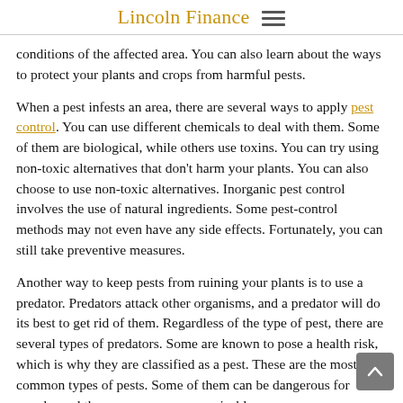Lincoln Finance
conditions of the affected area. You can also learn about the ways to protect your plants and crops from harmful pests.
When a pest infests an area, there are several ways to apply pest control. You can use different chemicals to deal with them. Some of them are biological, while others use toxins. You can try using non-toxic alternatives that don't harm your plants. You can also choose to use non-toxic alternatives. Inorganic pest control involves the use of natural ingredients. Some pest-control methods may not even have any side effects. Fortunately, you can still take preventive measures.
Another way to keep pests from ruining your plants is to use a predator. Predators attack other organisms, and a predator will do its best to get rid of them. Regardless of the type of pest, there are several types of predators. Some are known to pose a health risk, which is why they are classified as a pest. These are the most common types of pests. Some of them can be dangerous for people, and they may carry communicable